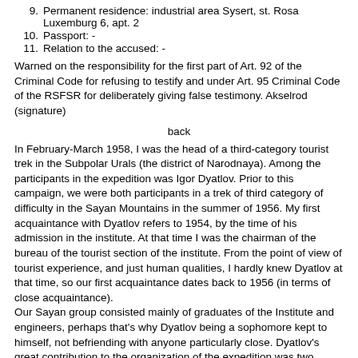9. Permanent residence: industrial area Sysert, st. Rosa Luxemburg 6, apt. 2
10. Passport: -
11. Relation to the accused: -
Warned on the responsibility for the first part of Art. 92 of the Criminal Code for refusing to testify and under Art. 95 Criminal Code of the RSFSR for deliberately giving false testimony. Akselrod (signature)
back
In February-March 1958, I was the head of a third-category tourist trek in the Subpolar Urals (the district of Narodnaya). Among the participants in the expedition was Igor Dyatlov. Prior to this campaign, we were both participants in a trek of third category of difficulty in the Sayan Mountains in the summer of 1956. My first acquaintance with Dyatlov refers to 1954, by the time of his admission in the institute. At that time I was the chairman of the bureau of the tourist section of the institute. From the point of view of tourist experience, and just human qualities, I hardly knew Dyatlov at that time, so our first acquaintance dates back to 1956 (in terms of close acquaintance). Our Sayan group consisted mainly of graduates of the Institute and engineers, perhaps that's why Dyatlov being a sophomore kept to himself, not befriending with anyone particularly close. Dyatlov's great contribution to the organization of the expedition was two transceiver-ultrashort wave devices designed for communication between the groups. I was the supply manager of the group, my responsibilities were, among